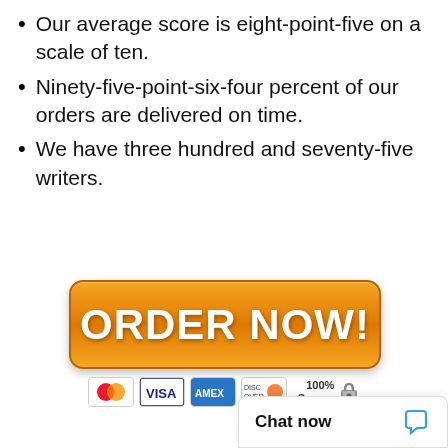Our average score is eight-point-five on a scale of ten.
Ninety-five-point-six-four percent of our orders are delivered on time.
We have three hundred and seventy-five writers.
[Figure (other): Orange 'ORDER NOW!' call-to-action button with payment card logos (MasterCard, VISA, AMEX, Discover) and a 100% Secure badge below it.]
Chat now